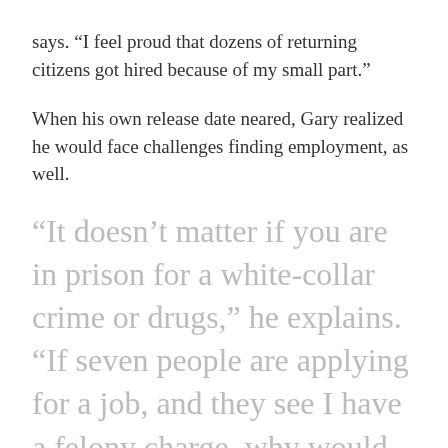says. “I feel proud that dozens of returning citizens got hired because of my small part.”
When his own release date neared, Gary realized he would face challenges finding employment, as well.
“It doesn’t matter if you are in prison for a white-collar crime or drugs,” he explains. “If seven people are applying for a job, and they see I have a felony charge, why would they take a...